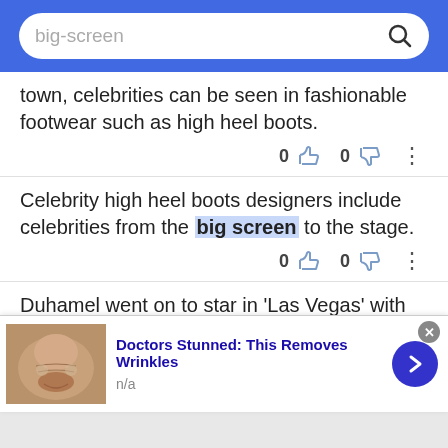big-screen [search bar]
town, celebrities can be seen in fashionable footwear such as high heel boots.
Celebrity high heel boots designers include celebrities from the big screen to the stage.
Duhamel went on to star in 'Las Vegas' with former GH beauty Vanessa Marcil and earned big screen kudos for his portrayal of Captain William Lennox in
[Figure (screenshot): Advertisement banner: Doctors Stunned: This Removes Wrinkles, n/a, with a close-up photo and a blue arrow button]